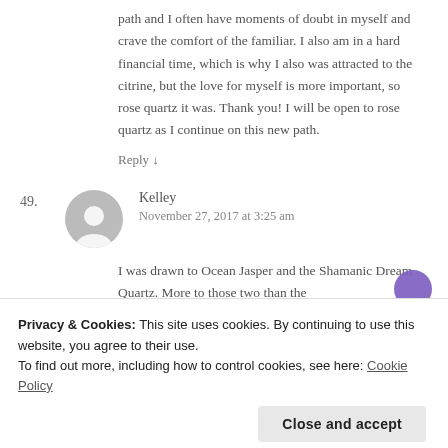path and I often have moments of doubt in myself and crave the comfort of the familiar. I also am in a hard financial time, which is why I also was attracted to the citrine, but the love for myself is more important, so rose quartz it was. Thank you! I will be open to rose quartz as I continue on this new path.
Reply ↓
49. Kelley
November 27, 2017 at 3:25 am
I was drawn to Ocean Jasper and the Shamanic Dream Quartz. More to those two than the
Privacy & Cookies: This site uses cookies. By continuing to use this website, you agree to their use.
To find out more, including how to control cookies, see here: Cookie Policy
Close and accept